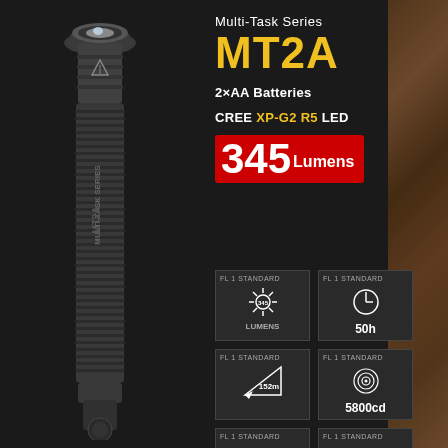[Figure (photo): Black tactical flashlight (Nitecore MT2A) standing vertically against dark background. The flashlight has a knurled grip and shows the MT2A logo on the body.]
Multi-Task Series
MT2A
2×AA Batteries
CREE XP-G2 R5 LED
345 Lumens
[Figure (infographic): FL1 Standard icon showing sunburst/light output symbol with 345 LUMENS label]
[Figure (infographic): FL1 Standard icon showing clock/runtime symbol with 50h label]
[Figure (infographic): FL1 Standard icon showing beam distance triangle with 152m label]
[Figure (infographic): FL1 Standard icon showing candela target rings with 5800cd label]
[Figure (infographic): FL1 Standard icon showing impact resistance checkmark with 1.5m label]
[Figure (infographic): FL1 Standard icon showing water submersion waves with 2m label]